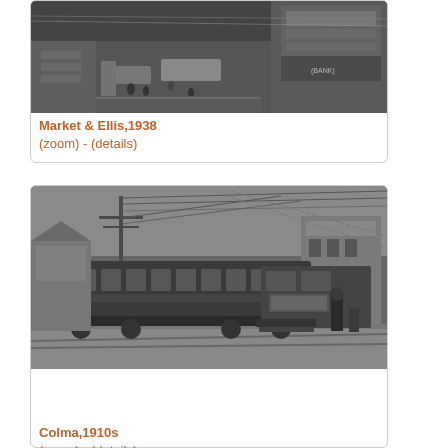[Figure (photo): Black and white aerial/street-level photograph of Market & Ellis street intersection, 1938, showing trolleys, pedestrians, and storefronts including a bank]
Market & Ellis,1938
(zoom) - (details)
[Figure (photo): Black and white photograph of historic streetcar/tram at Colma, 1910s, showing a long passenger car with overhead wires and utility poles, people standing nearby]
Colma,1910s
(zoom) - (details)